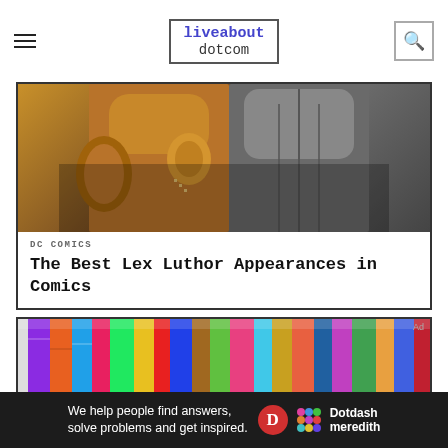liveabout dotcom
[Figure (photo): Close-up comic book artwork showing muscular torsos, one golden/warm-toned and one grey/silver-toned]
DC COMICS
The Best Lex Luthor Appearances in Comics
[Figure (photo): Row of comic books standing upright showing colorful spines]
We help people find answers, solve problems and get inspired.
Ad